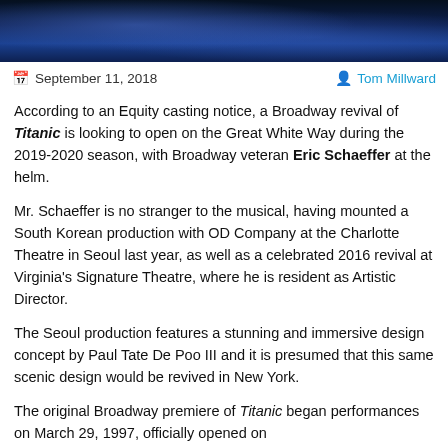[Figure (photo): Stage production photo with blue theatrical lighting, dark background showing performers and stage elements]
September 11, 2018    Tom Millward
According to an Equity casting notice, a Broadway revival of Titanic is looking to open on the Great White Way during the 2019-2020 season, with Broadway veteran Eric Schaeffer at the helm.
Mr. Schaeffer is no stranger to the musical, having mounted a South Korean production with OD Company at the Charlotte Theatre in Seoul last year, as well as a celebrated 2016 revival at Virginia's Signature Theatre, where he is resident as Artistic Director.
The Seoul production features a stunning and immersive design concept by Paul Tate De Poo III and it is presumed that this same scenic design would be revived in New York.
The original Broadway premiere of Titanic began performances on March 29, 1997, officially opened on